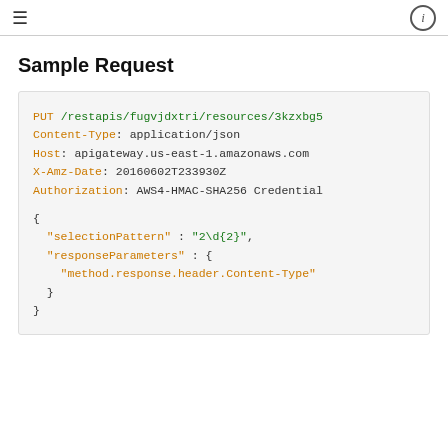≡  ⓘ
Sample Request
PUT /restapis/fugvjdxtri/resources/3kzxbg5
Content-Type: application/json
Host: apigateway.us-east-1.amazonaws.com
X-Amz-Date: 20160602T233930Z
Authorization: AWS4-HMAC-SHA256 Credential

{
  "selectionPattern" : "2\d{2}",
  "responseParameters" : {
    "method.response.header.Content-Type"
  }
}